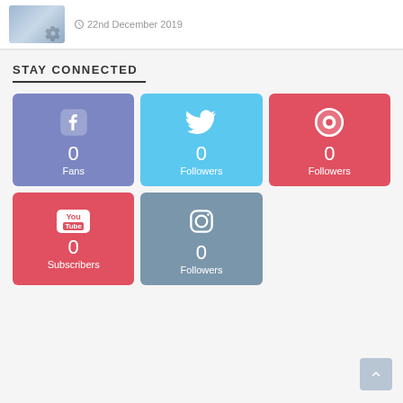22nd December 2019
STAY CONNECTED
[Figure (infographic): Social media follow buttons: Facebook (0 Fans), Twitter (0 Followers), Pinterest (0 Followers), YouTube (0 Subscribers), Instagram (0 Followers)]